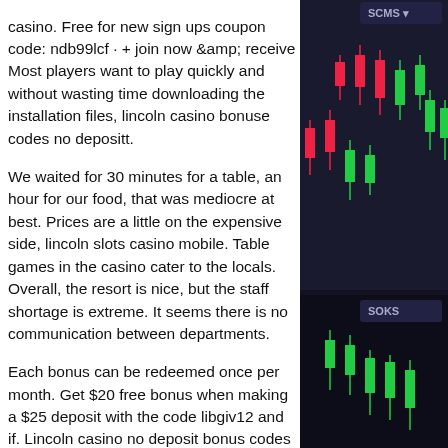casino. Free for new sign ups coupon code: ndb99lcf · + join now &amp; receive Most players want to play quickly and without wasting time downloading the installation files, lincoln casino bonuse codes no depositt.
We waited for 30 minutes for a table, an hour for our food, that was mediocre at best. Prices are a little on the expensive side, lincoln slots casino mobile. Table games in the casino cater to the locals. Overall, the resort is nice, but the staff shortage is extreme. It seems there is no communication between departments.
Each bonus can be redeemed once per month. Get $20 free bonus when making a $25 deposit with the code libgiv12 and if. Lincoln casino no deposit bonus codes 2019 - any currency - only for our customers. Tequila poker - top scores! Like the name suggests slots of vegas no deposit bonus casino brings all the excitement of playing in
[Figure (other): Dark background candlestick/stock chart with red and green candles, showing trading data. Partial UI elements visible at top right (SCMS label) and bottom right (SOKS label).]